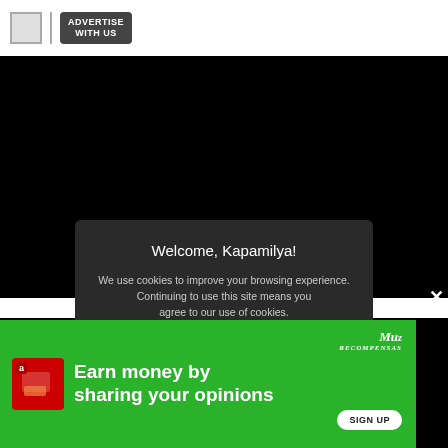ADVERTISE WITH US
[Figure (screenshot): Black background area representing a video or content area behind a cookie consent modal]
Welcome, Kapamilya!
We use cookies to improve your browsing experience. Continuing to use this site means you agree to our use of cookies.
Tell me more!
I AGREE!
[Figure (infographic): Green advertisement banner: 'Earn money by sharing your opinions' with MuZ Recompensas branding and SIGN UP button]